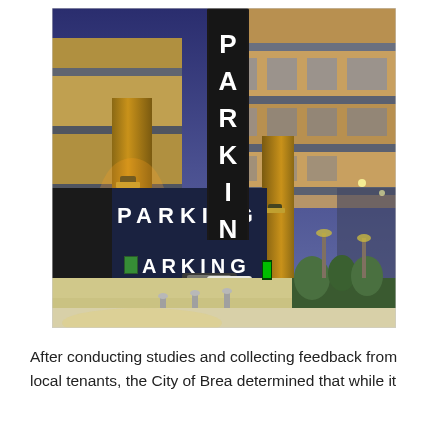[Figure (photo): Evening/dusk photograph of a multi-story parking structure with illuminated 'PARKING' signs — one vertical blade sign and one horizontal fascia sign. The structure has warm golden/brown cladding panels. The entrance shows bollards, parked cars inside, and landscaping to the right.]
After conducting studies and collecting feedback from local tenants, the City of Brea determined that while it